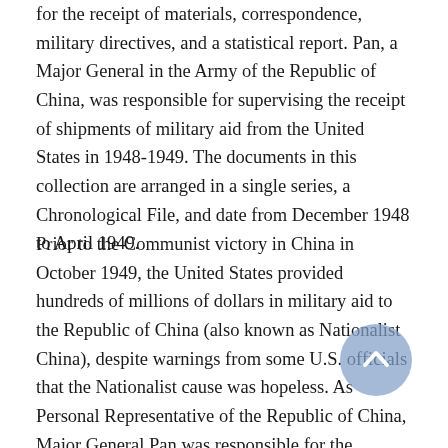for the receipt of materials, correspondence, military directives, and a statistical report. Pan, a Major General in the Army of the Republic of China, was responsible for supervising the receipt of shipments of military aid from the United States in 1948-1949. The documents in this collection are arranged in a single series, a Chronological File, and date from December 1948 to April 1949.
Prior to the Communist victory in China in October 1949, the United States provided hundreds of millions of dollars in military aid to the Republic of China (also known as Nationalist China), despite warnings from some U.S. officials that the Nationalist cause was hopeless. As Personal Representative of the Republic of China, Major General Pan was responsible for the complicated logistics involved in receiving military aid shipments from the United States at Keelung, Taiwan, and confirming their contents once they were unloaded. The documents in Pan's papers indicate that he prepared certificates confirming the receipt of materials,